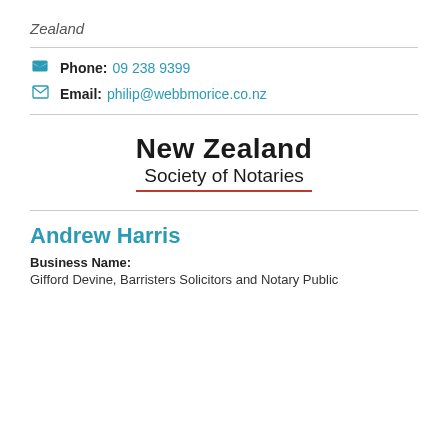Zealand
Phone: 09 238 9399
Email: philip@webbmorice.co.nz
[Figure (logo): New Zealand Society of Notaries logo with red underline beneath 'Society of Notaries']
Andrew Harris
Business Name:
Gifford Devine, Barristers Solicitors and Notary Public